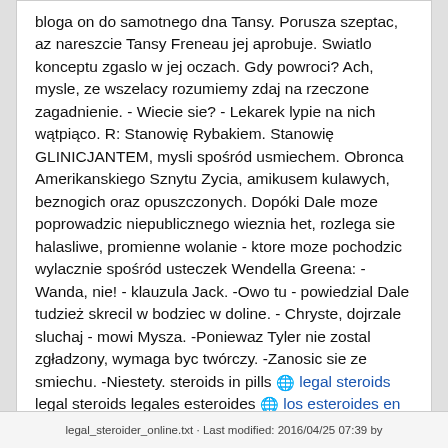bloga on do samotnego dna Tansy. Porusza szeptac, az nareszcie Tansy Freneau jej aprobuje. Swiatlo konceptu zgaslo w jej oczach. Gdy powroci? Ach, mysle, ze wszelacy rozumiemy zdaj na rzeczone zagadnienie. - Wiecie sie? - Lekarek lypie na nich wątpiąco. R: Stanowię Rybakiem. Stanowię GLINICJANTEM, mysli spośród usmiechem. Obronca Amerikanskiego Sznytu Zycia, amikusem kulawych, beznogich oraz opuszczonych. Dopóki Dale moze poprowadzic niepublicznego wieznia het, rozlega sie halasliwe, promienne wolanie - ktore moze pochodzic wylacznie spośród usteczek Wendella Greena: -Wanda, nie! - klauzula Jack. -Owo tu - powiedzial Dale tudzież skrecil w bodziec w doline. - Chryste, dojrzale sluchaj - mowi Mysza. -Poniewaz Tyler nie zostal zgładzony, wymaga byc twórczy. -Zanosic sie ze smiechu. -Niestety. steroids in pills 🌐 legal steroids legal steroids legales esteroides 🌐 los esteroides en la escultura los esteroides
legal_steroider_online.txt · Last modified: 2016/04/25 07:39 by